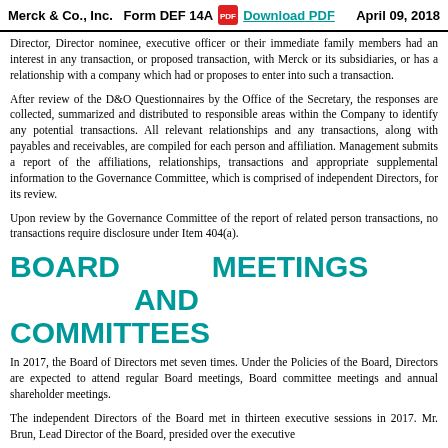Merck & Co., Inc.   Form DEF 14A   Download PDF   April 09, 2018
Director, Director nominee, executive officer or their immediate family members had an interest in any transaction, or proposed transaction, with Merck or its subsidiaries, or has a relationship with a company which had or proposes to enter into such a transaction.
After review of the D&O Questionnaires by the Office of the Secretary, the responses are collected, summarized and distributed to responsible areas within the Company to identify any potential transactions. All relevant relationships and any transactions, along with payables and receivables, are compiled for each person and affiliation. Management submits a report of the affiliations, relationships, transactions and appropriate supplemental information to the Governance Committee, which is comprised of independent Directors, for its review.
Upon review by the Governance Committee of the report of related person transactions, no transactions require disclosure under Item 404(a).
BOARD MEETINGS AND COMMITTEES
In 2017, the Board of Directors met seven times. Under the Policies of the Board, Directors are expected to attend regular Board meetings, Board committee meetings and annual shareholder meetings.
The independent Directors of the Board met in thirteen executive sessions in 2017. Mr. Brun, Lead Director of the Board, presided over the executive